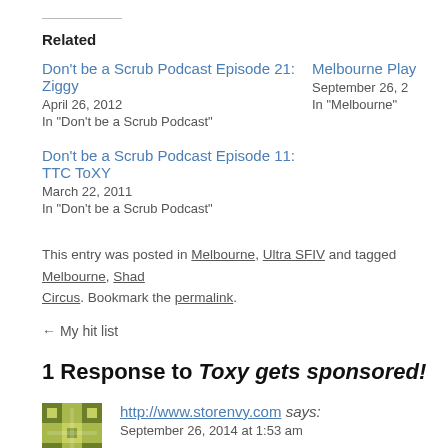Related
Don’t be a Scrub Podcast Episode 21: Ziggy
April 26, 2012
In "Don't be a Scrub Podcast"
Melbourne Play
September 26, 2
In "Melbourne"
Don’t be a Scrub Podcast Episode 11: TTC ToXY
March 22, 2011
In "Don't be a Scrub Podcast"
This entry was posted in Melbourne, Ultra SFIV and tagged Melbourne, Shad Circus. Bookmark the permalink.
← My hit list
1 Response to Toxy gets sponsored!
http://www.storenvy.com says:
September 26, 2014 at 1:53 am